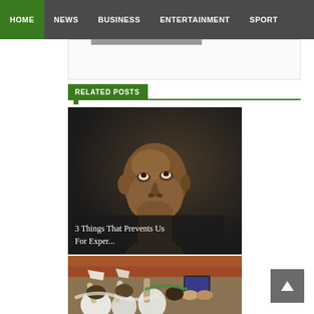HOME | NEWS | BUSINESS | ENTERTAINMENT | SPORT
RELATED POSTS
[Figure (photo): Young Black man looking upward against a dark background]
3 Things That Prevents Us For Exper...
[Figure (photo): Crowd of people with raised hands holding flags and a tablet device]